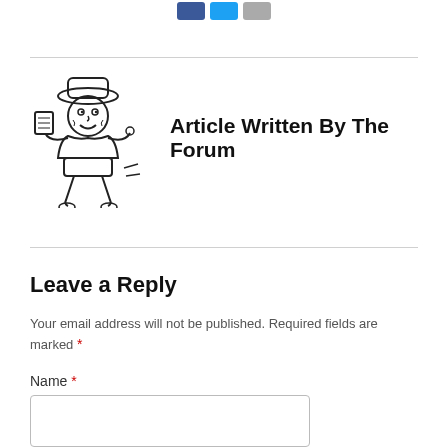[Figure (illustration): Three small social sharing buttons (Facebook blue, Twitter light blue, email gray) at top center]
[Figure (illustration): Vintage cartoon mascot of a boy/paperboy carrying a large book or paper, running, in black and white line art style]
Article Written By The Forum
Leave a Reply
Your email address will not be published. Required fields are marked *
Name *